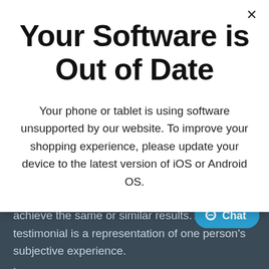Your Software is Out of Date
Your phone or tablet is using software unsupported by our website. To improve your shopping experience, please update your device to the latest version of iOS or Android OS.
person will have the same experience or achieve the same or similar results. A consumer testimonial is a representation of one person's subjective experience.
* Among traditional mattress brands, based on 2017-2019 Tempur Sealy Brand Tracker